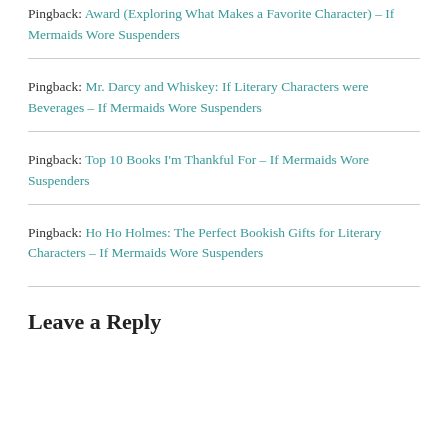Pingback: Award (Exploring What Makes a Favorite Character) – If Mermaids Wore Suspenders
Pingback: Mr. Darcy and Whiskey: If Literary Characters were Beverages – If Mermaids Wore Suspenders
Pingback: Top 10 Books I'm Thankful For – If Mermaids Wore Suspenders
Pingback: Ho Ho Holmes: The Perfect Bookish Gifts for Literary Characters – If Mermaids Wore Suspenders
Leave a Reply